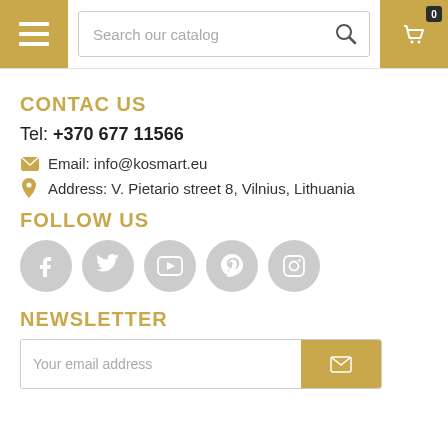[Figure (screenshot): Website header with hamburger menu button (gold), search bar 'Search our catalog', and shopping cart button (gold) with badge showing 0]
CONTAC US
Tel: +370 677 11566
Email: info@kosmart.eu
Address: V. Pietario street 8, Vilnius, Lithuania
FOLLOW US
[Figure (illustration): Five circular grey social media icons: Facebook, Twitter, YouTube, Pinterest, Instagram]
NEWSLETTER
[Figure (screenshot): Email input field with 'Your email address' placeholder and gold submit button with envelope icon]